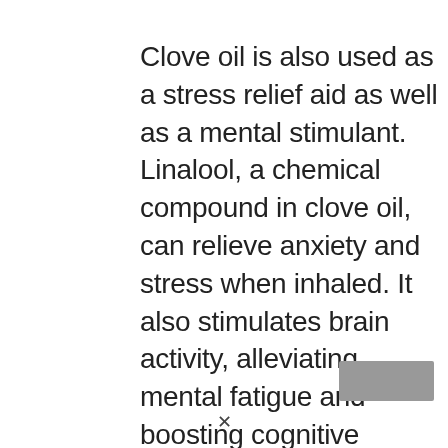Clove oil is also used as a stress relief aid as well as a mental stimulant. Linalool, a chemical compound in clove oil, can relieve anxiety and stress when inhaled. It also stimulates brain activity, alleviating mental fatigue and boosting cognitive function (source).
[Figure (other): Gray rectangle UI element (partially visible image or button)]